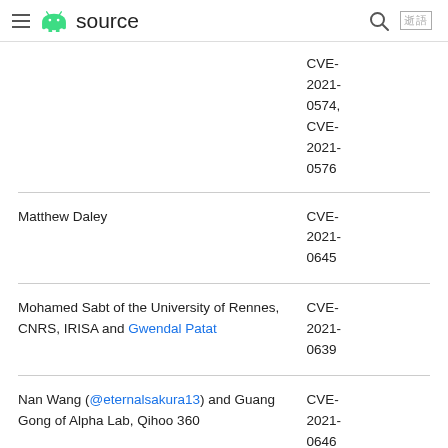≡ source
| Researcher | CVE |
| --- | --- |
|  | CVE-2021-0574, CVE-2021-0576 |
| Matthew Daley | CVE-2021-0645 |
| Mohamed Sabt of the University of Rennes, CNRS, IRISA and Gwendal Patat | CVE-2021-0639 |
| Nan Wang (@eternalsakura13) and Guang Gong of Alpha Lab, Qihoo 360 | CVE-2021-0646 |